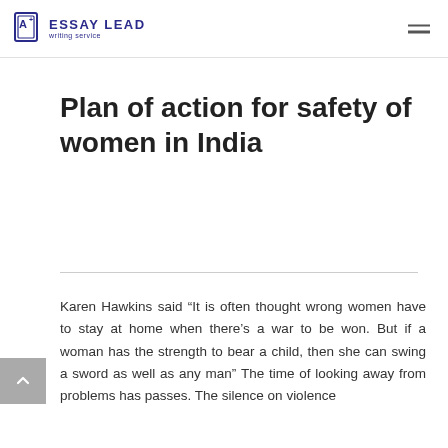ESSAY LEAD writing service
Plan of action for safety of women in India
Karen Hawkins said “It is often thought wrong women have to stay at home when there’s a war to be won. But if a woman has the strength to bear a child, then she can swing a sword as well as any man” The time of looking away from problems has passes. The silence on violence